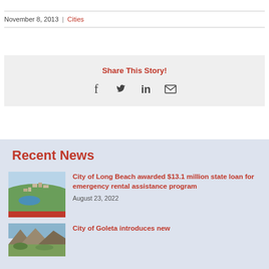November 8, 2013 | Cities
Share This Story!
[Figure (infographic): Social share icons: Facebook, Twitter, LinkedIn, Email]
Recent News
[Figure (photo): Aerial photo of Long Beach city with river]
City of Long Beach awarded $13.1 million state loan for emergency rental assistance program
August 23, 2022
[Figure (photo): Scenic photo of Goleta landscape]
City of Goleta introduces new